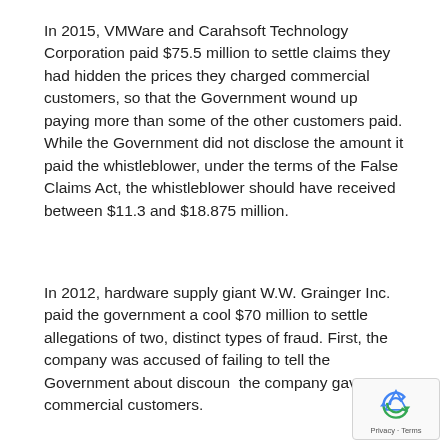In 2015, VMWare and Carahsoft Technology Corporation paid $75.5 million to settle claims they had hidden the prices they charged commercial customers, so that the Government wound up paying more than some of the other customers paid. While the Government did not disclose the amount it paid the whistleblower, under the terms of the False Claims Act, the whistleblower should have received between $11.3 and $18.875 million.
In 2012, hardware supply giant W.W. Grainger Inc. paid the government a cool $70 million to settle allegations of two, distinct types of fraud. First, the company was accused of failing to tell the Government about discounts the company gave commercial customers.